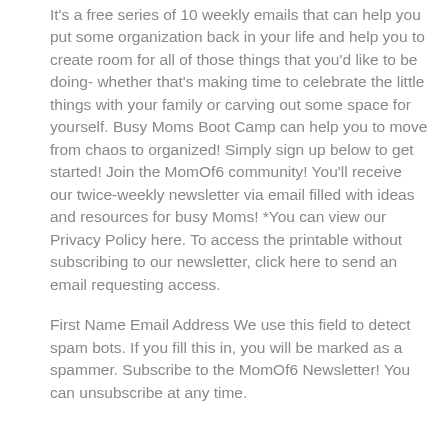It's a free series of 10 weekly emails that can help you put some organization back in your life and help you to create room for all of those things that you'd like to be doing- whether that's making time to celebrate the little things with your family or carving out some space for yourself. Busy Moms Boot Camp can help you to move from chaos to organized! Simply sign up below to get started! Join the MomOf6 community! You'll receive our twice-weekly newsletter via email filled with ideas and resources for busy Moms! *You can view our Privacy Policy here. To access the printable without subscribing to our newsletter, click here to send an email requesting access.
First Name Email Address We use this field to detect spam bots. If you fill this in, you will be marked as a spammer. Subscribe to the MomOf6 Newsletter! You can unsubscribe at any time.